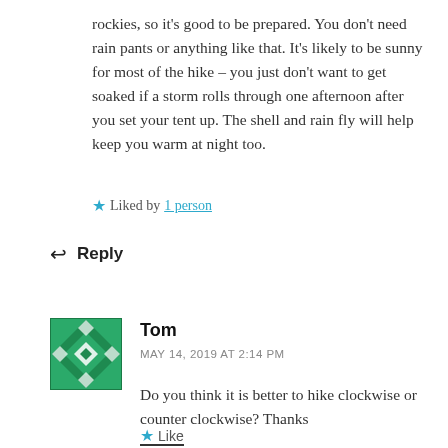rockies, so it's good to be prepared. You don't need rain pants or anything like that. It's likely to be sunny for most of the hike – you just don't want to get soaked if a storm rolls through one afternoon after you set your tent up. The shell and rain fly will help keep you warm at night too.
★ Liked by 1 person
↩ Reply
[Figure (illustration): Green geometric/quilted avatar icon for user Tom]
Tom
MAY 14, 2019 AT 2:14 PM
Do you think it is better to hike clockwise or counter clockwise? Thanks
★ Like